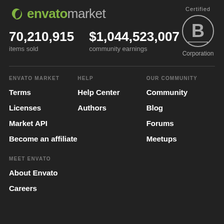[Figure (logo): Envato Market logo with green leaf icon, white 'envato' text and grey 'market' text]
70,210,915
items sold
$1,044,523,007
community earnings
[Figure (logo): Certified B Corporation circular logo badge]
ENVATO MARKET
HELP
OUR COMMUNITY
Terms
Help Center
Community
Licenses
Authors
Blog
Market API
Forums
Become an affiliate
Meetups
MEET ENVATO
About Envato
Careers